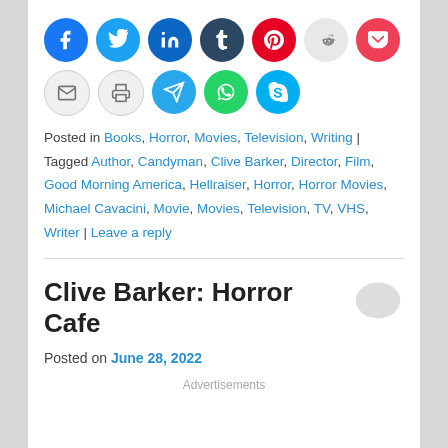[Figure (other): Social sharing icon buttons: Facebook, Twitter, LinkedIn, Tumblr, Pinterest, Reddit, Pocket, Email, Print, Telegram, WhatsApp, Skype]
Posted in Books, Horror, Movies, Television, Writing | Tagged Author, Candyman, Clive Barker, Director, Film, Good Morning America, Hellraiser, Horror, Horror Movies, Michael Cavacini, Movie, Movies, Television, TV, VHS, Writer | Leave a reply
Clive Barker: Horror Cafe
Posted on June 28, 2022
Advertisements